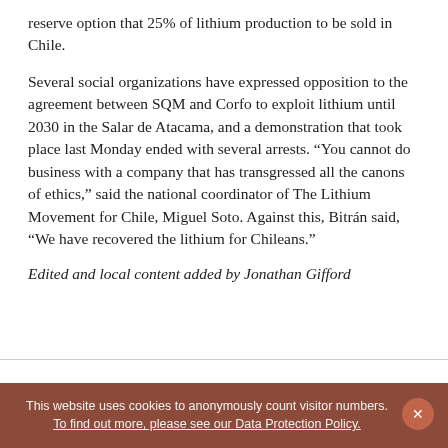reserve option that 25% of lithium production to be sold in Chile.
Several social organizations have expressed opposition to the agreement between SQM and Corfo to exploit lithium until 2030 in the Salar de Atacama, and a demonstration that took place last Monday ended with several arrests. “You cannot do business with a company that has transgressed all the canons of ethics,” said the national coordinator of The Lithium Movement for Chile, Miguel Soto. Against this, Bitrán said, “We have recovered the lithium for Chileans.”
Edited and local content added by Jonathan Gifford
This website uses cookies to anonymously count visitor numbers. To find out more, please see our Data Protection Policy.